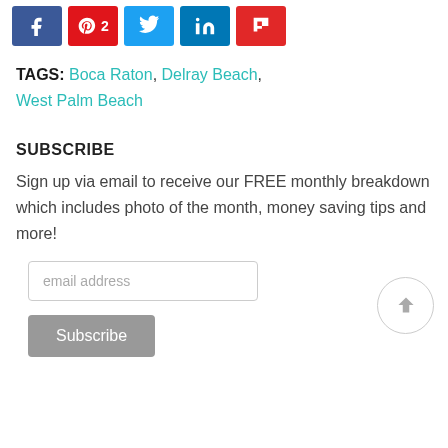[Figure (other): Social sharing buttons: Facebook, Pinterest (2), Twitter, LinkedIn, Flipboard]
TAGS: Boca Raton, Delray Beach, West Palm Beach
SUBSCRIBE
Sign up via email to receive our FREE monthly breakdown which includes photo of the month, money saving tips and more!
[Figure (other): Email address input field and Subscribe button]